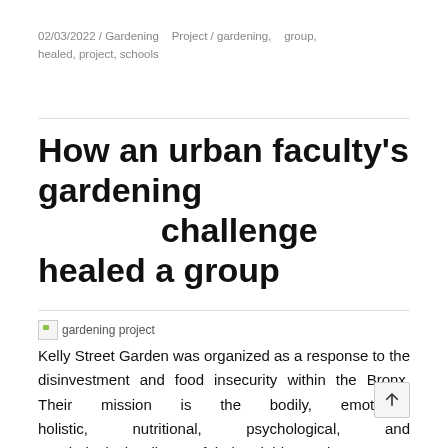02/03/2022 / Gardening Project / gardening, group, healed, project, schools
How an urban faculty's gardening challenge healed a group
[Figure (photo): Broken image placeholder labeled 'gardening project']
Kelly Street Garden was organized as a response to the disinvestment and food insecurity within the Bronx. Their mission is the bodily, emotional, holistic, nutritional, psychological, and psychological wellness of their neighbors. The